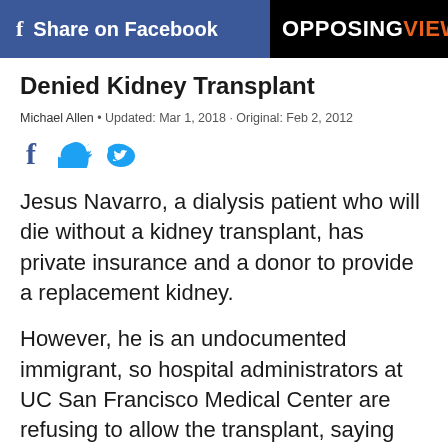Share on Facebook | OPPOSING VIEWS
Denied Kidney Transplant
Michael Allen • Updated: Mar 1, 2018 · Original: Feb 2, 2012
[Figure (logo): Facebook and Twitter social sharing icons]
Jesus Navarro, a dialysis patient who will die without a kidney transplant, has private insurance and a donor to provide a replacement kidney.
However, he is an undocumented immigrant, so hospital administrators at UC San Francisco Medical Center are refusing to allow the transplant, saying that there is no guarantee